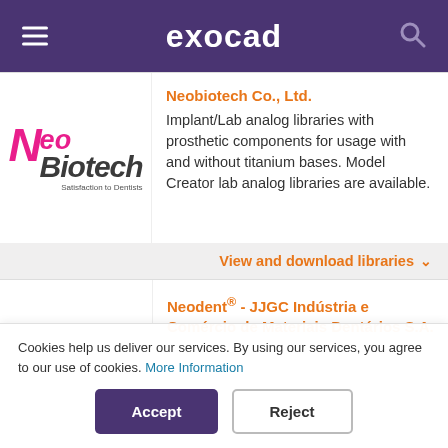exocad
[Figure (logo): NeoBiotech logo with pink N, dark Biotech text, and tagline 'Satisfaction to Dentists']
Neobiotech Co., Ltd.
Implant/Lab analog libraries with prosthetic components for usage with and without titanium bases. Model Creator lab analog libraries are available.
View and download libraries
Neodent® - JJGC Indústria e Comércio de Materiais Dentários S.A.
Cookies help us deliver our services. By using our services, you agree to our use of cookies. More Information
Accept
Reject